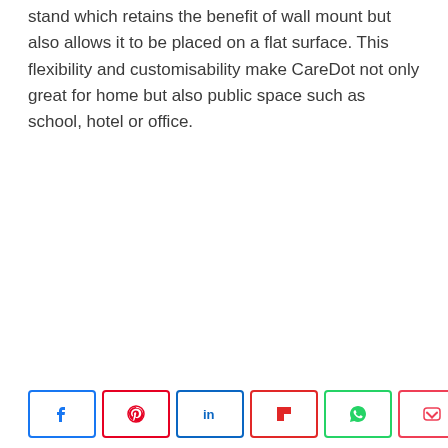stand which retains the benefit of wall mount but also allows it to be placed on a flat surface. This flexibility and customisability make CareDot not only great for home but also public space such as school, hotel or office.
[Figure (other): Social share buttons row: Facebook, Pinterest, LinkedIn, Flipboard, WhatsApp, Pocket, plus a share count showing 2.3K SHARES]